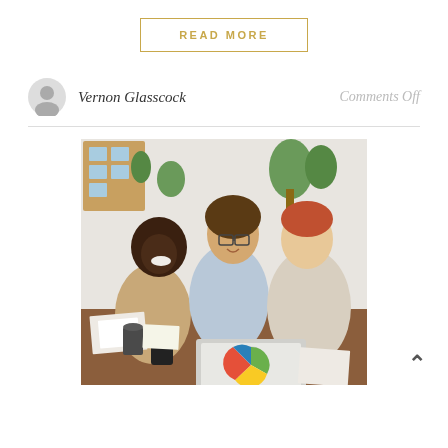READ MORE
Vernon Glasscock
Comments Off
[Figure (photo): Three people in an office meeting around a table with laptops and papers, smiling and collaborating. Background shows a corkboard with sticky notes and plants.]